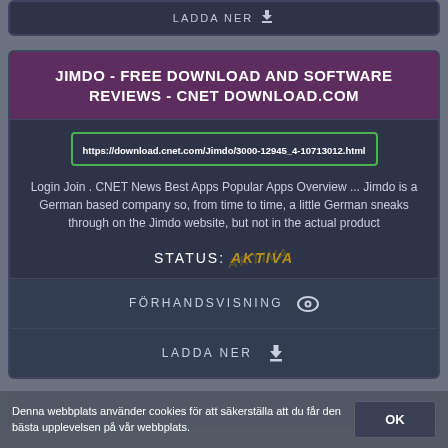[Figure (screenshot): Partial top card showing LADDA NER (download) button from a previous search result]
JIMDO - FREE DOWNLOAD AND SOFTWARE REVIEWS - CNET DOWNLOAD.COM
https://download.cnet.com/Jimdo/3000-12945_4-10713012.html
Login Join . CNET News Best Apps Popular Apps Overview ... Jimdo is a German based company so, from time to time, a little German sneaks through on the Jimdo website, but not in the actual product
STATUS: AKTIVA
FÖRHANDSVISNING
LADDA NER
Denna webbplats använder cookies för att säkerställa att du får den bästa upplevelsen på vår webbplats.